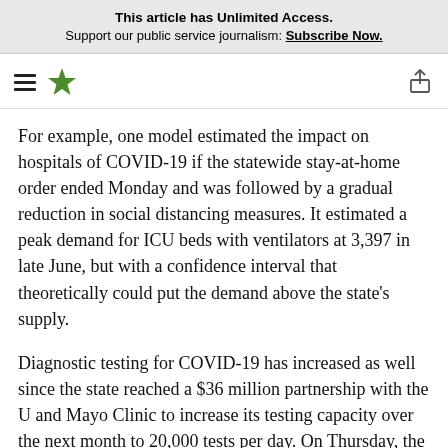This article has Unlimited Access. Support our public service journalism: Subscribe Now.
[Figure (logo): Hamburger menu icon and green star logo on left; share/upload icon on right]
For example, one model estimated the impact on hospitals of COVID-19 if the statewide stay-at-home order ended Monday and was followed by a gradual reduction in social distancing measures. It estimated a peak demand for ICU beds with ventilators at 3,397 in late June, but with a confidence interval that theoretically could put the demand above the state's supply.
Diagnostic testing for COVID-19 has increased as well since the state reached a $36 million partnership with the U and Mayo Clinic to increase its testing capacity over the next month to 20,000 tests per day. On Thursday, the state reported another 6,717 tests, bringing the total conducted so far in Minnesota to 128,752.
The state Health Department announced Wednesday that it